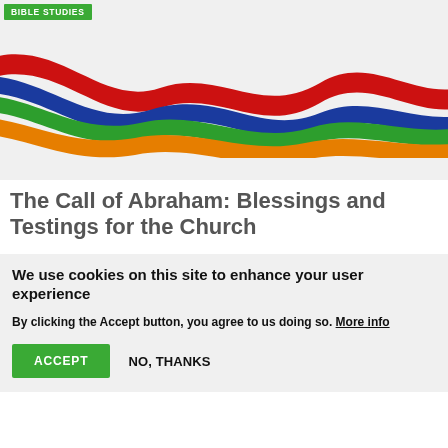BIBLE STUDIES
[Figure (illustration): Colorful interwoven ribbon/wave bands in red, blue, green, and orange on a light gray background, creating a flowing abstract design.]
The Call of Abraham: Blessings and Testings for the Church
We use cookies on this site to enhance your user experience
By clicking the Accept button, you agree to us doing so. More info
ACCEPT   NO, THANKS